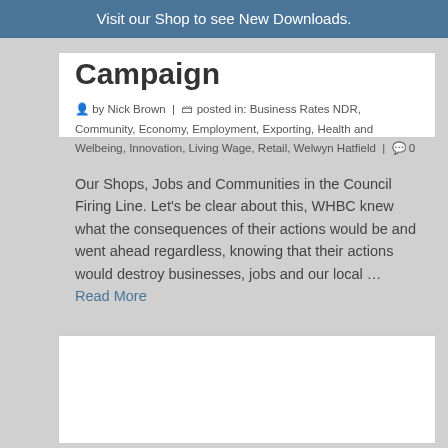Visit our Shop to see New Downloads.
Campaign
by Nick Brown | posted in: Business Rates NDR, Community, Economy, Employment, Exporting, Health and Welbeing, Innovation, Living Wage, Retail, Welwyn Hatfield | 0
Our Shops, Jobs and Communities in the Council Firing Line. Let's be clear about this, WHBC knew what the consequences of their actions would be and went ahead regardless, knowing that their actions would destroy businesses, jobs and our local … Read More